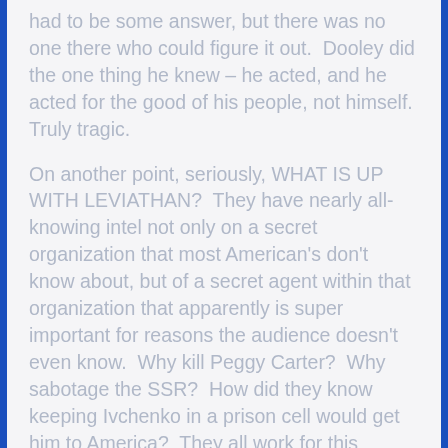had to be some answer, but there was no one there who could figure it out. Dooley did the one thing he knew – he acted, and he acted for the good of his people, not himself. Truly tragic.
On another point, seriously, WHAT IS UP WITH LEVIATHAN? They have nearly all-knowing intel not only on a secret organization that most American's don't know about, but of a secret agent within that organization that apparently is super important for reasons the audience doesn't even know. Why kill Peggy Carter? Why sabotage the SSR? How did they know keeping Ivchenko in a prison cell would get him to America? They all work for this organization, but there has been literally no information on